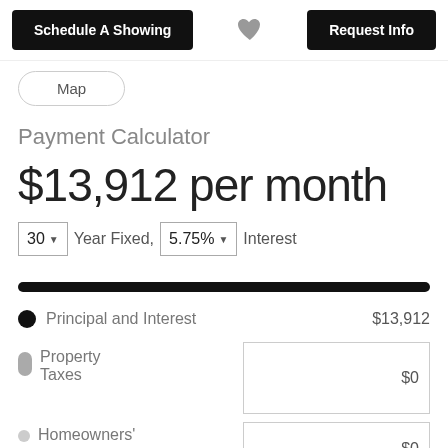Schedule A Showing | [heart] | Request Info
Map
Payment Calculator
$13,912 per month
30 Year Fixed, 5.75% Interest
Principal and Interest $13,912
Property Taxes $0
Homeowners' $0